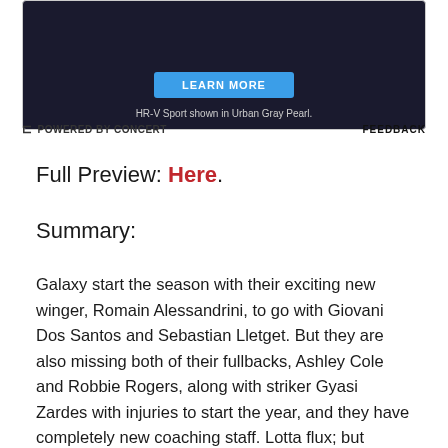[Figure (other): Advertisement banner with dark background, a blue 'LEARN MORE' button, and text 'HR-V Sport shown in Urban Gray Pearl.']
HR-V Sport shown in Urban Gray Pearl.
⊏ POWERED BY CONCERT    FEEDBACK
Full Preview: Here.
Summary:
Galaxy start the season with their exciting new winger, Romain Alessandrini, to go with Giovani Dos Santos and Sebastian Lletget. But they are also missing both of their fullbacks, Ashley Cole and Robbie Rogers, along with striker Gyasi Zardes with injuries to start the year, and they have completely new coaching staff. Lotta flux; but probably also a lot of fun to watch, as usual.